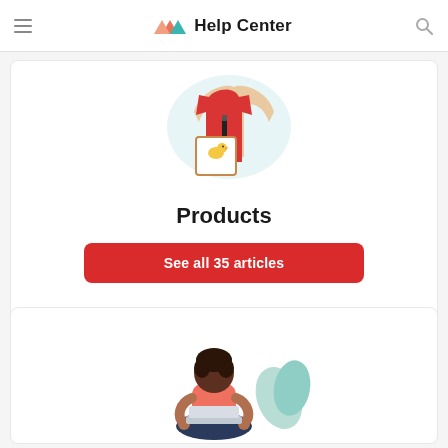Help Center
[Figure (illustration): Illustration of clothing items (red shirt, beige sweater) with a tag/label]
Products
See all 35 articles
[Figure (illustration): Illustration of a woman sitting cross-legged using a laptop with a plant beside her]